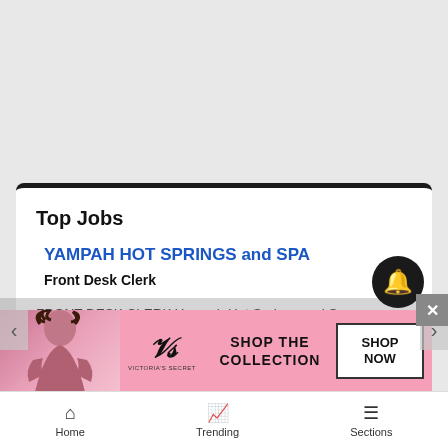Top Jobs
YAMPAH HOT SPRINGS and SPA
Front Desk Clerk
FRONT DESK CLERK Yampah Hot Springs and Spa is c
[Figure (screenshot): Victoria's Secret advertisement banner with model photo, VS logo, SHOP THE COLLECTION text, and SHOP NOW button]
Home   Trending   Sections